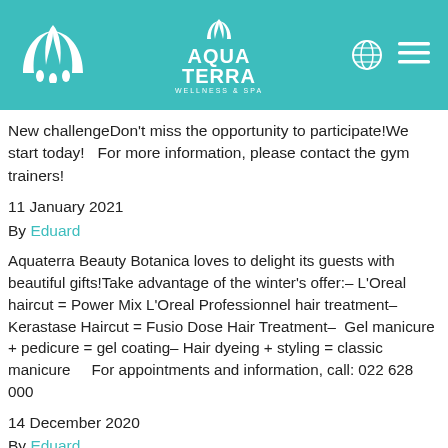[Figure (logo): Aqua Terra Wellness & Spa header bar with white logo on teal/turquoise background, globe icon, and hamburger menu]
New challengeDon't miss the opportunity to participate!We start today!   For more information, please contact the gym trainers!
11 January 2021
By Eduard
Aquaterra Beauty Botanica loves to delight its guests with beautiful gifts!Take advantage of the winter's offer:– L'Oreal haircut = Power Mix L'Oreal Professionnel hair treatment– Kerastase Haircut = Fusio Dose Hair Treatment–  Gel manicure + pedicure = gel coating– Hair dyeing + styling = classic manicure     For appointments and information, call: 022 628 000
14 December 2020
By Eduard
...